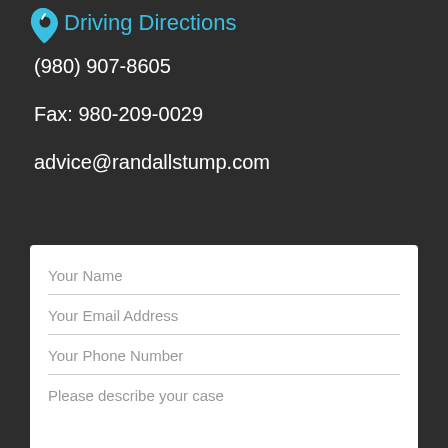Driving Directions
(980) 907-8605
Fax: 980-209-0029
advice@randallstump.com
Your Name
Your Email Address
Your Phone Number
Please describe your case